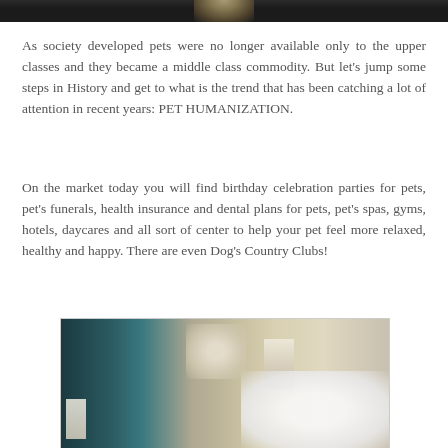[Figure (photo): Partial photo of a person, dark background, top strip only]
As society developed pets were no longer available only to the upper classes and they became a middle class commodity. But let's jump some steps in History and get to what is the trend that has been catching a lot of attention in recent years: PET HUMANIZATION.
On the market today you will find birthday celebration parties for pets, pet's funerals, health insurance and dental plans for pets, pet's spas, gyms, hotels, daycares and all sort of center to help your pet feel more relaxed, healthy and happy. There are even Dog's Country Clubs!
[Figure (photo): Photo of a spa-like setting with flowers, candles, and foam, suggesting pet spa services]